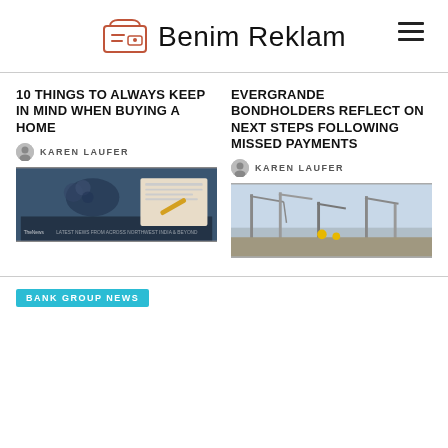Benim Reklam
10 THINGS TO ALWAYS KEEP IN MIND WHEN BUYING A HOME
KAREN LAUFER
[Figure (photo): Photo of house keys, a small house model, and a hand signing a document with a pen. TheNews Express watermark visible at bottom.]
EVERGRANDE BONDHOLDERS REFLECT ON NEXT STEPS FOLLOWING MISSED PAYMENTS
KAREN LAUFER
[Figure (photo): Photo of construction cranes against a sky background, workers in yellow helmets visible.]
BANK GROUP NEWS